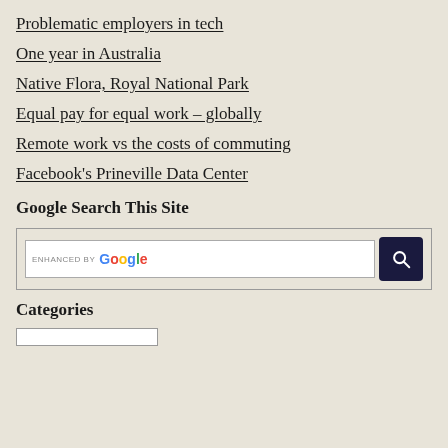Problematic employers in tech
One year in Australia
Native Flora, Royal National Park
Equal pay for equal work – globally
Remote work vs the costs of commuting
Facebook's Prineville Data Center
Google Search This Site
[Figure (screenshot): Google search widget with enhanced by Google label, a text input field, and a dark search button with magnifying glass icon]
Categories
[Figure (screenshot): Dropdown or input box for categories, partially visible at bottom of page]